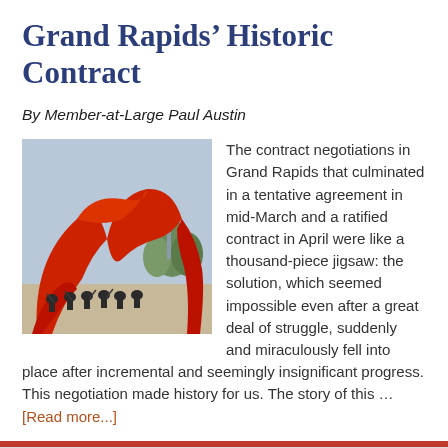Grand Rapids’ Historic Contract
By Member-at-Large Paul Austin
[Figure (photo): Red metal sculpture (Calder-style) with orchestra musicians performing outdoors beneath it]
The contract negotiations in Grand Rapids that culminated in a tentative agreement in mid-March and a ratified contract in April were like a thousand-piece jigsaw: the solution, which seemed impossible even after a great deal of struggle, suddenly and miraculously fell into place after incremental and seemingly insignificant progress. This negotiation made history for us. The story of this … [Read more...]